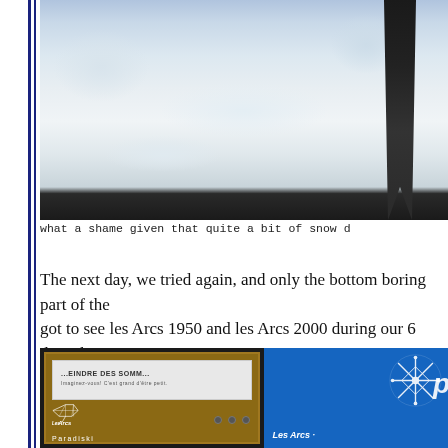[Figure (photo): Photo of snow on the ground with a person's dark-clothed legs visible at the top right corner]
what a shame given that quite a bit of snow d
The next day, we tried again, and only the bottom boring part of the got to see les Arcs 1950 and les Arcs 2000 during our 6 days there :
[Figure (photo): Photo of Les Arcs Paradiski sign board with wooden frame, white information panel, black background, and a blue Paradiski panel on the right side showing the Les Arcs logo in white]